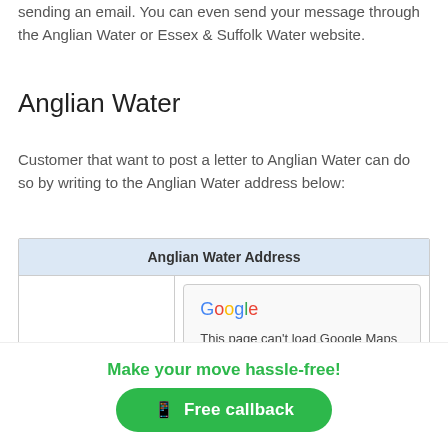sending an email. You can even send your message through the Anglian Water or Essex & Suffolk Water website.
Anglian Water
Customer that want to post a letter to Anglian Water can do so by writing to the Anglian Water address below:
| Anglian Water Address |
| --- |
|  | Google
This page can't load Google Maps correctly. |
Make your move hassle-free!
Free callback